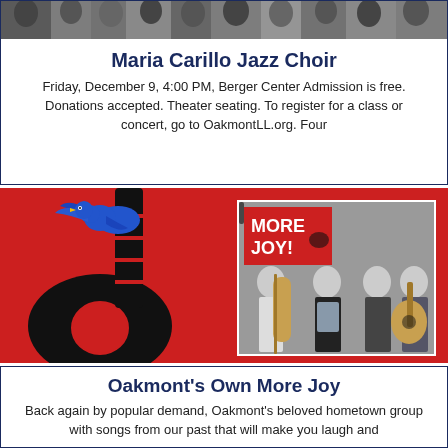[Figure (photo): Photo of choir members performing, cropped at the top]
Maria Carillo Jazz Choir
Friday, December 9, 4:00 PM, Berger Center Admission is free. Donations accepted. Theater seating. To register for a class or concert, go to OakmontLL.org. Four
[Figure (illustration): Red background with black guitar silhouette and blue bird illustration on left; photo of four band members holding instruments in front of a red 'MORE JOY!' banner on right]
Oakmont's Own More Joy
Back again by popular demand, Oakmont's beloved hometown group with songs from our past that will make you laugh and